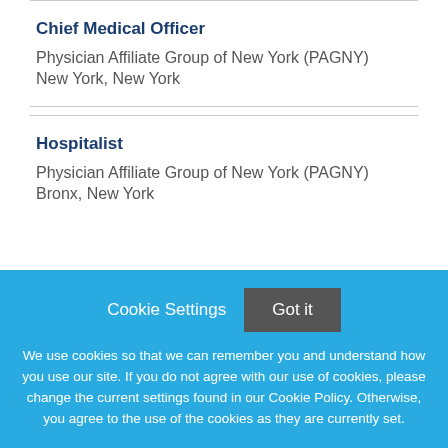Chief Medical Officer
Physician Affiliate Group of New York (PAGNY)
New York, New York
Hospitalist
Physician Affiliate Group of New York (PAGNY)
Bronx, New York
Cookie Settings  Got it

We use cookies so that we can remember you and understand how you use our site. If you do not agree with our use of cookies, please change the current settings found in our Cookie Policy. Otherwise, you agree to the use of the cookies as they are currently set.